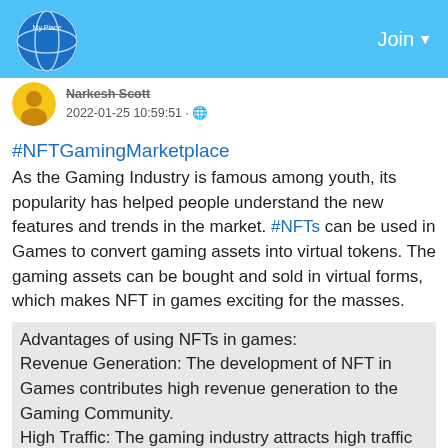Join
Narkesh Scott added a photo
2022-01-25 10:59:51 · 🌐
#NFTGamingMarketplace
As the Gaming Industry is famous among youth, its popularity has helped people understand the new features and trends in the market. #NFTs can be used in Games to convert gaming assets into virtual tokens. The gaming assets can be bought and sold in virtual forms, which makes NFT in games exciting for the masses.
Advantages of using NFTs in games:
Revenue Generation: The development of NFT in Games contributes high revenue generation to the Gaming Community.
High Traffic: The gaming industry attracts high traffic to the NFT Marketplace.
Transparency: The asset of a Game is transparent in NFT Market.
If you have an interest in minting your game in an